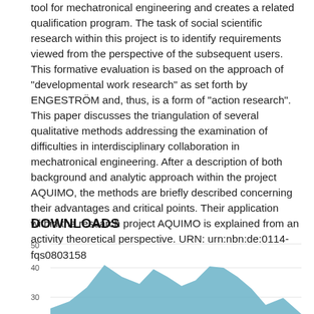tool for mechatronical engineering and creates a related qualification program. The task of social scientific research within this project is to identify requirements viewed from the perspective of the subsequent users. This formative evaluation is based on the approach of "developmental work research" as set forth by ENGESTRÖM and, thus, is a form of "action research". This paper discusses the triangulation of several qualitative methods addressing the examination of difficulties in interdisciplinary collaboration in mechatronical engineering. After a description of both background and analytic approach within the project AQUIMO, the methods are briefly described concerning their advantages and critical points. Their application within the research project AQUIMO is explained from an activity theoretical perspective. URN: urn:nbn:de:0114-fqs0803158
DOWNLOADS
[Figure (area-chart): Area chart showing download counts over time, with peaks around 40 and y-axis labels at 30, 40, 50]